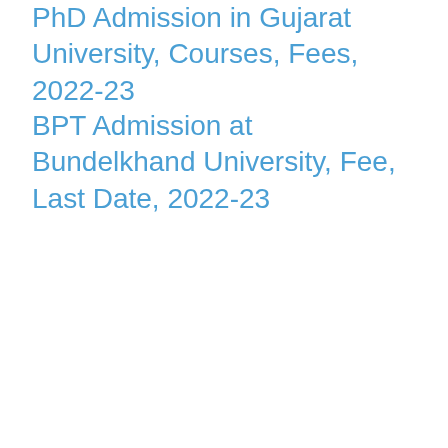PhD Admission in Gujarat University, Courses, Fees, 2022-23
BPT Admission at Bundelkhand University, Fee, Last Date, 2022-23